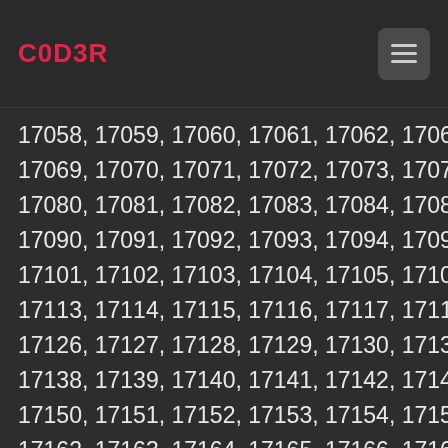C0D3R
17058, 17059, 17060, 17061, 17062, 17063, 17064, 17069, 17070, 17071, 17072, 17073, 17074, 17075, 17080, 17081, 17082, 17083, 17084, 17085, 17086, 17090, 17091, 17092, 17093, 17094, 17095, 17096, 17101, 17102, 17103, 17104, 17105, 17106, 17107, 17111, 17113, 17114, 17115, 17116, 17117, 17118, 17119, 17120, 17126, 17127, 17128, 17129, 17130, 17131, 17132, 17133, 17138, 17139, 17140, 17141, 17142, 17143, 17144, 17145, 17150, 17151, 17152, 17153, 17154, 17155, 17156, 17157, 17162, 17163, 17164, 17165, 17166, 17167, 17168, 17169, 17174, 17175, 17176, 17177, 17178, 17179, 17180, 17181, 17186, 17187, 17188, 17189, 17190, 17191, 17192, 17193, 17198, 17199, 17200, 17201, 17202, 17203, 17204, 17209, 17210, 17211, 17212, 17213, 17214, 17215, 17222, 17221, 17222, 17223, 17224, 17225, 17226, 17227, 17232, 17233, 17234, 17235, 17236, 17237, 17238